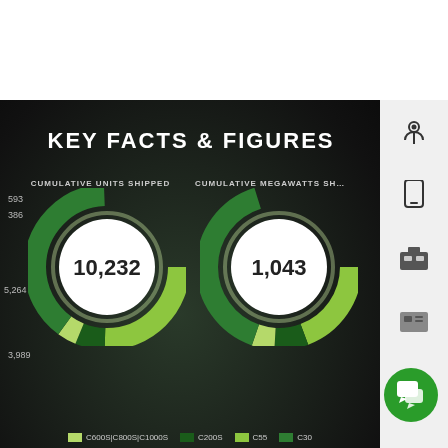KEY FACTS & FIGURES
[Figure (donut-chart): CUMULATIVE UNITS SHIPPED]
[Figure (donut-chart): CUMULATIVE MEGAWATTS SH...]